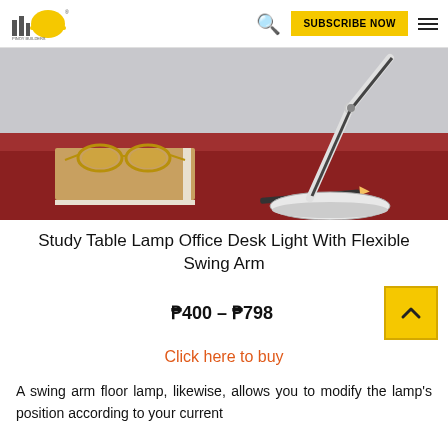PINOY BUILDERS — SUBSCRIBE NOW
[Figure (photo): A white swing-arm desk lamp on a wooden desk next to a book with glasses on top and a pencil]
Study Table Lamp Office Desk Light With Flexible Swing Arm
₱400 – ₱798
Click here to buy
A swing arm floor lamp, likewise, allows you to modify the lamp's position according to your current